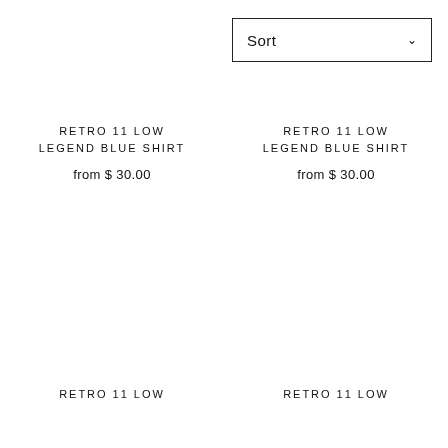Sort
RETRO 11 LOW LEGEND BLUE SHIRT
from $ 30.00
RETRO 11 LOW LEGEND BLUE SHIRT
from $ 30.00
RETRO 11 LOW
RETRO 11 LOW